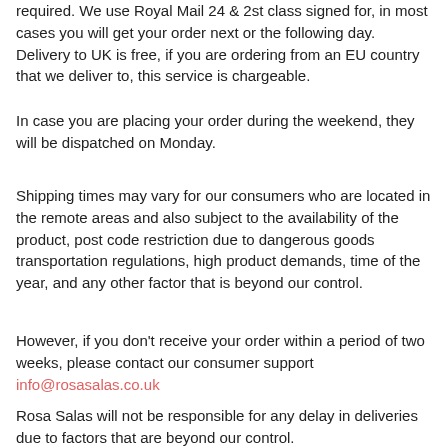required. We use Royal Mail 24 & 2st class signed for, in most cases you will get your order next or the following day. Delivery to UK is free, if you are ordering from an EU country that we deliver to, this service is chargeable.
In case you are placing your order during the weekend, they will be dispatched on Monday.
Shipping times may vary for our consumers who are located in the remote areas and also subject to the availability of the product, post code restriction due to dangerous goods transportation regulations, high product demands, time of the year, and any other factor that is beyond our control.
However, if you don't receive your order within a period of two weeks, please contact our consumer support info@rosasalas.co.uk
Rosa Salas will not be responsible for any delay in deliveries due to factors that are beyond our control.